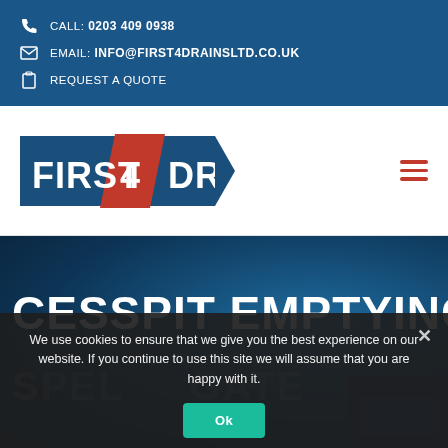CALL: 0203 409 0938
EMAIL: INFO@FIRST4DRAINSLTD.CO.UK
REQUEST A QUOTE
[Figure (logo): First 4 Drains logo — dark blue banner with white text FIRST and DRAINS, red parallelogram with white number 4 in centre]
CESSPIT EMPTYING
We use cookies to ensure that we give you the best experience on our website. If you continue to use this site we will assume that you are happy with it.
Ok